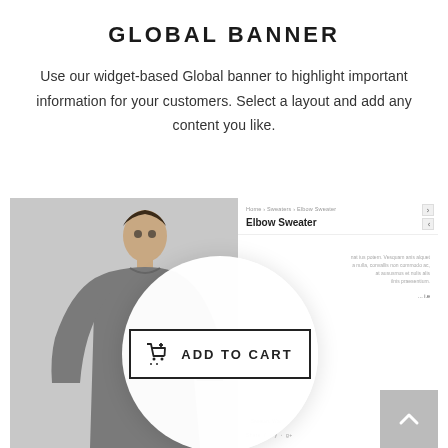GLOBAL BANNER
Use our widget-based Global banner to highlight important information for your customers. Select a layout and add any content you like.
[Figure (screenshot): Screenshot of an e-commerce product page showing an Elbow Sweater listing, with a large magnifying circle overlay highlighting an 'ADD TO CART' button with a shopping cart icon. The left side shows a man wearing a gray sweater. The right panel shows breadcrumb navigation reading 'Home > Sweaters > Elbow Sweater', the product title, descriptive lorem ipsum text, a mini add to cart button, share icons, and a gray back-to-top arrow in the bottom right corner.]